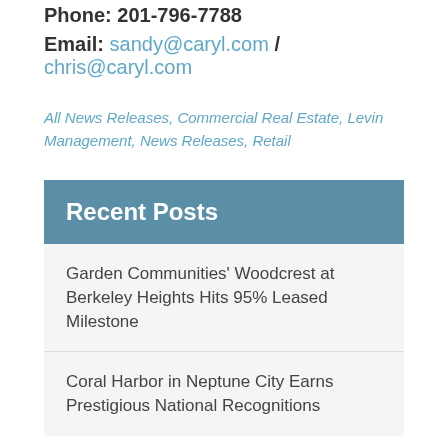Phone: 201-796-7788
Email: sandy@caryl.com / chris@caryl.com
All News Releases, Commercial Real Estate, Levin Management, News Releases, Retail
Recent Posts
Garden Communities' Woodcrest at Berkeley Heights Hits 95% Leased Milestone
Coral Harbor in Neptune City Earns Prestigious National Recognitions